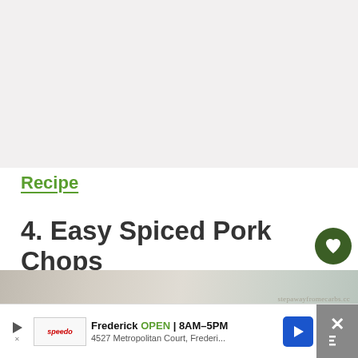[Figure (photo): Light-colored blurred food photo area at top of page]
Recipe
4. Easy Spiced Pork Chops
[Figure (photo): Partial food photo showing pork chops with watermark stepawayfromecarbs.cc]
13.3K
Frederick  OPEN | 8AM–5PM
4527 Metropolitan Court, Frederi...